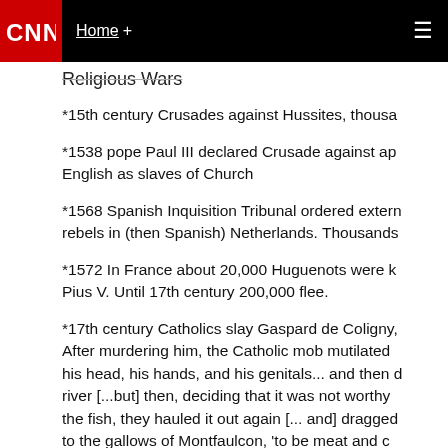CNN  Home +
Religious Wars
*15th century Crusades against Hussites, thousands...
*1538 pope Paul III declared Crusade against ap... English as slaves of Church
*1568 Spanish Inquisition Tribunal ordered extern... rebels in (then Spanish) Netherlands. Thousands...
*1572 In France about 20,000 Huguenots were k... Pius V. Until 17th century 200,000 flee.
*17th century Catholics slay Gaspard de Coligny, After murdering him, the Catholic mob mutilated his head, his hands, and his genitals... and then d... river [...but] then, deciding that it was not worthy... the fish, they hauled it out again [... and] dragged to the gallows of Montfaulcon, 'to be meat and c... crows'."